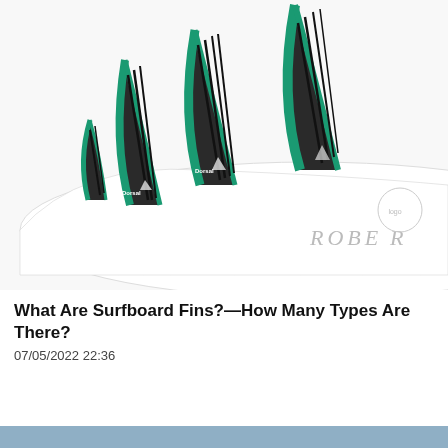[Figure (photo): Close-up photo of a white surfboard (branded ROBERTS) with four green and black carbon fiber surfboard fins (branded Dorsal) attached, arranged in a quad fin setup, photographed against a white background.]
What Are Surfboard Fins?—How Many Types Are There?
07/05/2022 22:36